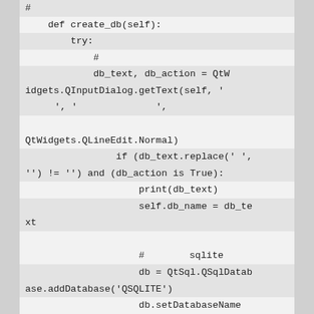# 　　　　
    def create_db(self):
        try:
            # 　　　　　　　　　　　
            db_text, db_action = QtWidgets.QInputDialog.getText(self, '　　　　', '　　　　　　　',

QtWidgets.QLineEdit.Normal)
                if (db_text.replace(' ', '') != '') and (db_action is True):
                    print(db_text)
                    self.db_name = db_text

                    # 　　　　sqlite　　　　　　　　
                    db = QtSql.QSqlDatabase.addDatabase('QSQLITE')
                    db.setDatabaseName('{}.sqlite'.format(db_text))
                    db.open()
                    # 　　　　　　　　
                    query = QtSql.QSqlQuery()

ery()
                    #